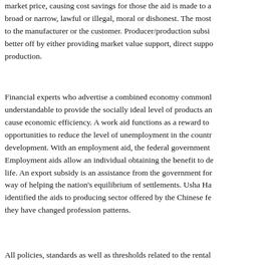to government support. This enables the needed items to sell below market price, causing cost savings for those the aid is made to and can be broad or narrow, lawful or illegal, moral or dishonest. The most can be given to the manufacturer or the customer. Producer/production subsidies are better off by either providing market value support, direct support, or subsidizing production.
Financial experts who advertise a combined economy commonly find it understandable to provide the socially ideal level of products and services that cause economic efficiency. A work aid functions as a reward to create job opportunities to reduce the level of unemployment in the country and encourage development. With an employment aid, the federal government invests in citizens. Employment aids allow an individual obtaining the benefit to develop in their life. An export subsidy is an assistance from the government for exports as a way of helping the nation's equilibrium of settlements. Usha Ha identified the aids to producing sector offered by the Chinese fe they have changed profession patterns.
All policies, standards as well as thresholds related to the rental (…)